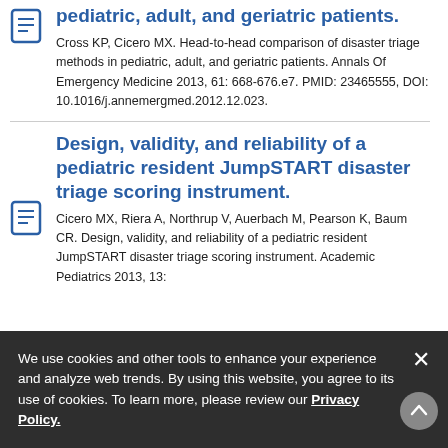pediatric, adult, and geriatric patients.
Cross KP, Cicero MX. Head-to-head comparison of disaster triage methods in pediatric, adult, and geriatric patients. Annals Of Emergency Medicine 2013, 61: 668-676.e7. PMID: 23465555, DOI: 10.1016/j.annemergmed.2012.12.023.
Design, validity, and reliability of a pediatric resident JumpSTART disaster triage scoring instrument.
Cicero MX, Riera A, Northrup V, Auerbach M, Pearson K, Baum CR. Design, validity, and reliability of a pediatric resident JumpSTART disaster triage scoring instrument. Academic Pediatrics 2013, 13:
We use cookies and other tools to enhance your experience and analyze web trends. By using this website, you agree to its use of cookies. To learn more, please review our Privacy Policy.